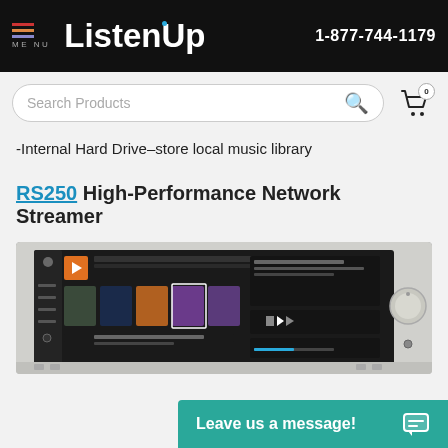ListenUp | 1-877-744-1179
[Figure (screenshot): Search bar with 'Search Products' placeholder and cart icon with 0 badge]
-Internal Hard Drive–store local music library
RS250 High-Performance Network Streamer
[Figure (photo): RS250 High-Performance Network Streamer device with display showing music library interface]
[Figure (other): Leave us a message! chat button]